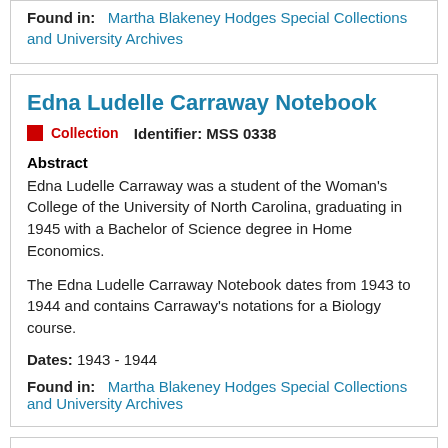Found in:  Martha Blakeney Hodges Special Collections and University Archives
Edna Ludelle Carraway Notebook
Collection   Identifier: MSS 0338
Abstract
Edna Ludelle Carraway was a student of the Woman's College of the University of North Carolina, graduating in 1945 with a Bachelor of Science degree in Home Economics.
The Edna Ludelle Carraway Notebook dates from 1943 to 1944 and contains Carraway's notations for a Biology course.
Dates: 1943 - 1944
Found in:  Martha Blakeney Hodges Special Collections and University Archives
Henrietta Alberta "Berta" Ratliffe Craig Notebooks